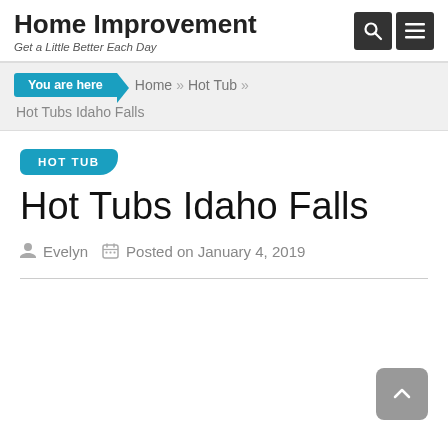Home Improvement
Get a Little Better Each Day
You are here  Home » Hot Tub » Hot Tubs Idaho Falls
HOT TUB
Hot Tubs Idaho Falls
Evelyn  Posted on January 4, 2019